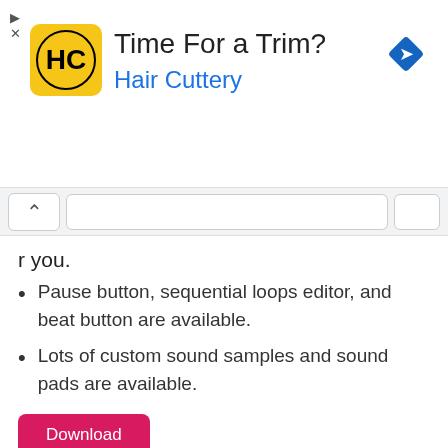[Figure (advertisement): Hair Cuttery ad banner with yellow logo icon, text 'Time For a Trim?' and 'Hair Cuttery' in blue, and a blue diamond navigation arrow icon on the right]
r you.
Pause button, sequential loops editor, and beat button are available.
Lots of custom sound samples and sound pads are available.
[Figure (other): Pink/magenta Download button]
Final Verdict
Before saying goodbye for today, I need to remind you to